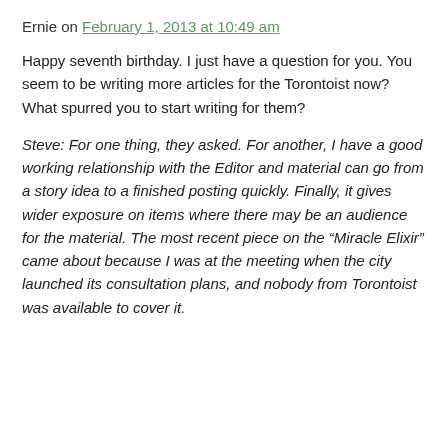Ernie on February 1, 2013 at 10:49 am
Happy seventh birthday. I just have a question for you. You seem to be writing more articles for the Torontoist now? What spurred you to start writing for them?
Steve: For one thing, they asked. For another, I have a good working relationship with the Editor and material can go from a story idea to a finished posting quickly. Finally, it gives wider exposure on items where there may be an audience for the material. The most recent piece on the “Miracle Elixir” came about because I was at the meeting when the city launched its consultation plans, and nobody from Torontoist was available to cover it.